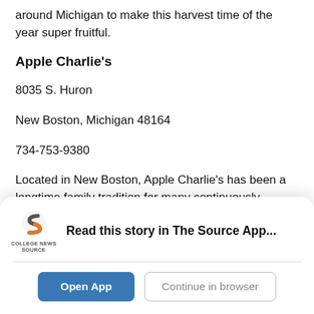around Michigan to make this harvest time of the year super fruitful.
Apple Charlie's
8035 S. Huron
New Boston, Michigan 48164
734-753-9380
Located in New Boston, Apple Charlie's has been a longtime family tradition for many continuously providing visitors with the sweet taste of autumn as they offer selections of their famous apple cider and...
[Figure (logo): College News Source app logo - stylized 'S' shape in dark gray and orange]
Read this story in The Source App...
Open App
Continue in browser